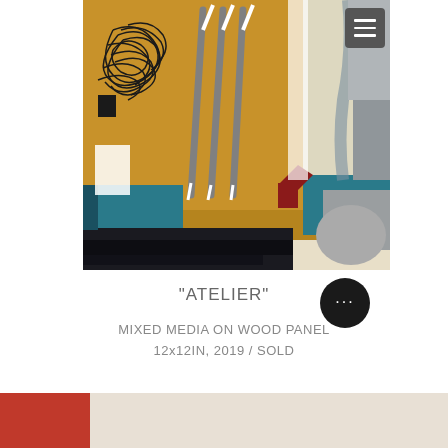[Figure (photo): Abstract mixed media artwork titled 'Atelier' — predominantly yellow/ochre background with dark scribbles on left, gray vertical drip-like lines in center, teal band across lower area, red angular shape lower right, gray/cream sections on right, and dark black band at bottom.]
"ATELIER"
MIXED MEDIA ON WOOD PANEL
12x12IN, 2019 / SOLD
[Figure (other): Partial bottom strip showing red and beige/cream color blocks, and a dark circular button with three dots (ellipsis) on the right side.]